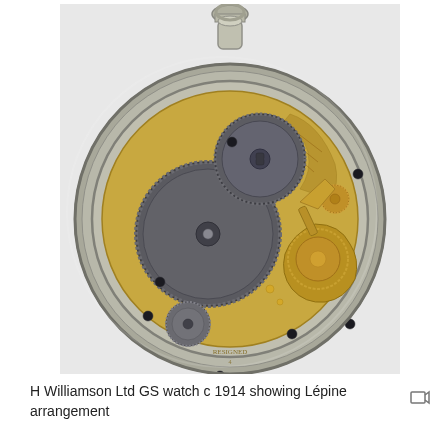[Figure (photo): Photograph of the back of an H Williamson Ltd GS pocket watch circa 1914, open-back case showing the movement with visible gear wheels (escapement, balance wheel, and other gears) on a gold-coloured plate, set inside a silver-coloured round case with crown and chain ring at top.]
H Williamson Ltd GS watch c 1914 showing Lépine arrangement